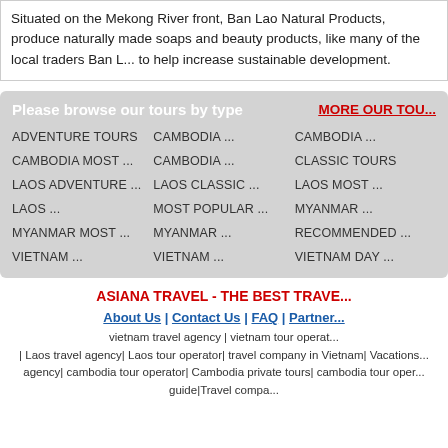Situated on the Mekong River front, Ban Lao Natural Products, produce naturally made soaps and beauty products, like many of the local traders Ban L... to help increase sustainable development.
Please browse our tours by type
MORE OUR TOU...
ADVENTURE TOURS
CAMBODIA ...
CAMBODIA ...
CAMBODIA MOST ...
CAMBODIA ...
CLASSIC TOURS
LAOS ADVENTURE ...
LAOS CLASSIC ...
LAOS MOST ...
LAOS ...
MOST POPULAR ...
MYANMAR ...
MYANMAR MOST ...
MYANMAR ...
RECOMMENDED ...
VIETNAM ...
VIETNAM ...
VIETNAM DAY ...
ASIANA TRAVEL - THE BEST TRAVE...
About Us | Contact Us | FAQ | Partner...
vietnam travel agency | vietnam tour operat... | Laos travel agency| Laos tour operator| travel company in Vietnam| Vacations... agency| cambodia tour operator| Cambodia private tours| cambodia tour oper... guide|Travel compa...